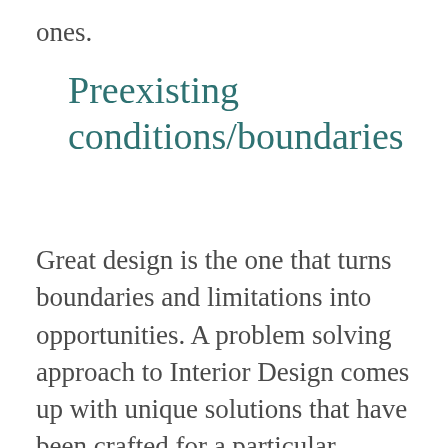ones.
Preexisting conditions/boundaries
Great design is the one that turns boundaries and limitations into opportunities. A problem solving approach to Interior Design comes up with unique solutions that have been crafted for a particular project. Use your ‘scope of works’ to refer back to how far you can go, determine your limitations, and use them rather than